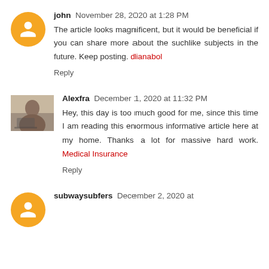john November 28, 2020 at 1:28 PM
The article looks magnificent, but it would be beneficial if you can share more about the suchlike subjects in the future. Keep posting. dianabol
Reply
Alexfra December 1, 2020 at 11:32 PM
Hey, this day is too much good for me, since this time I am reading this enormous informative article here at my home. Thanks a lot for massive hard work. Medical Insurance
Reply
subwaysubfers December 2, 2020 at